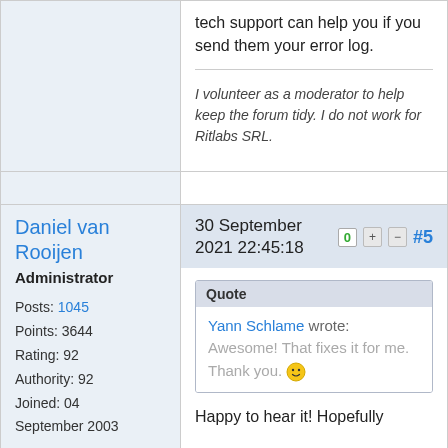tech support can help you if you send them your error log.
I volunteer as a moderator to help keep the forum tidy. I do not work for Ritlabs SRL.
Daniel van Rooijen
Administrator
Posts: 1045
Points: 3644
Rating: 92
Authority: 92
Joined: 04 September 2003
30 September 2021 22:45:18  0  +  −  #5
Quote
Yann Schlame wrote:
Awesome! That fixes it for me. Thank you. 🙂
Happy to hear it! Hopefully